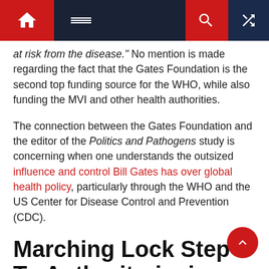Navigation bar with home, menu, search, and random icons
at risk from the disease." No mention is made regarding the fact that the Gates Foundation is the second top funding source for the WHO, while also funding the MVI and other health authorities.
The connection between the Gates Foundation and the editor of the Politics and Pathogens study is concerning when one understands the outsized influence and control Bill Gates has over global health policy, particularly through the WHO and the US Center for Disease Control and Prevention (CDC).
Marching Lock Step To Authoritarianism
In part 3 of my investigation into the life, finances, and goals of Bill Gates, I noted that the Gates Foundation was involved